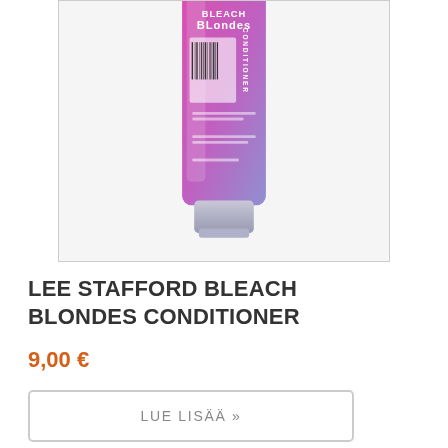[Figure (photo): Product photo of Lee Stafford Bleach Blondes Conditioner tube, pink and purple gradient packaging with barcode visible, shown against light grey/white background]
LEE STAFFORD BLEACH BLONDES CONDITIONER
9,00 €
LUE LISÄÄ »